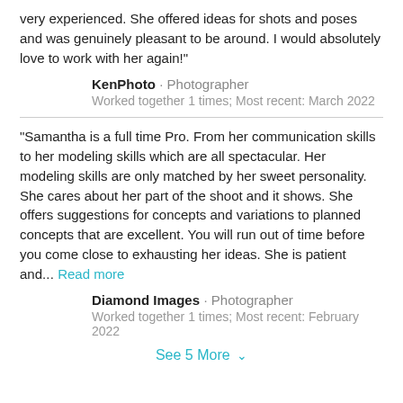very experienced. She offered ideas for shots and poses and was genuinely pleasant to be around. I would absolutely love to work with her again!"
KenPhoto · Photographer
Worked together 1 times; Most recent: March 2022
"Samantha is a full time Pro. From her communication skills to her modeling skills which are all spectacular. Her modeling skills are only matched by her sweet personality. She cares about her part of the shoot and it shows. She offers suggestions for concepts and variations to planned concepts that are excellent. You will run out of time before you come close to exhausting her ideas. She is patient and... Read more
Diamond Images · Photographer
Worked together 1 times; Most recent: February 2022
See 5 More